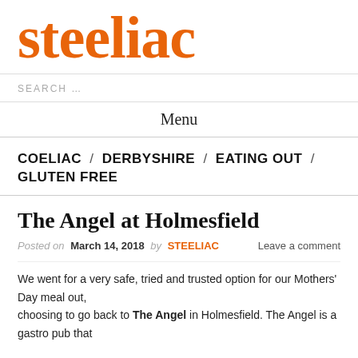steeliac
SEARCH …
Menu
COELIAC / DERBYSHIRE / EATING OUT / GLUTEN FREE
The Angel at Holmesfield
Posted on March 14, 2018 by STEELIAC  Leave a comment
We went for a very safe, tried and trusted option for our Mothers' Day meal out, choosing to go back to The Angel in Holmesfield. The Angel is a gastro pub that